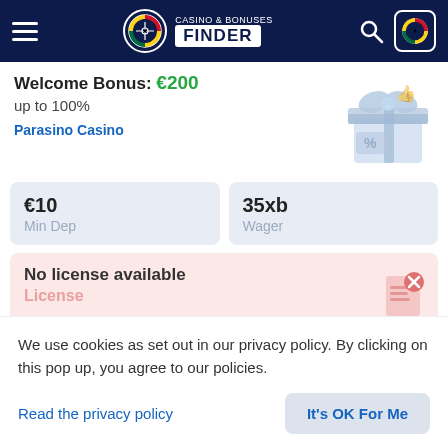[Figure (screenshot): Casino & Bonuses Finder website header with hamburger menu, logo, search icon and Ghana flag icon]
Welcome Bonus: €200
up to 100%
Parasino Casino
€10
Min Dep
35xb
Wager
No license available
License
PLAY ANYWAY
REVIEW
We use cookies as set out in our privacy policy. By clicking on this pop up, you agree to our policies.
Read the privacy policy
It's OK For Me